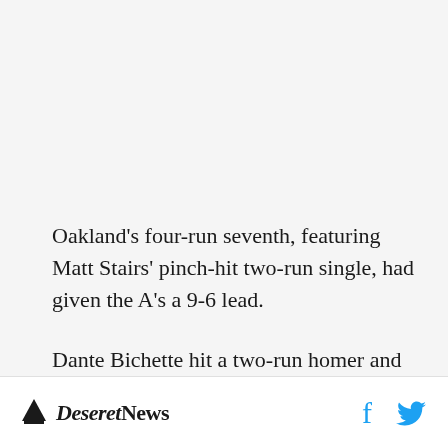Oakland's four-run seventh, featuring Matt Stairs' pinch-hit two-run single, had given the A's a 9-6 lead.
Dante Bichette hit a two-run homer and RBI single for the Rockies.
Deseret News